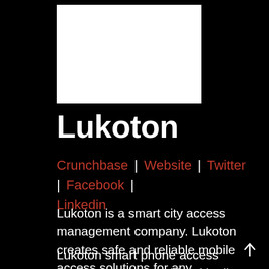[Figure (logo): White rectangular logo box for Lukoton on black background]
Lukoton
Crunchbase | Website | Twitter | Facebook | Linkedin
Lukoton is a smart city access management company. Lukoton creates safe and reliable mobile access solutions for any residential buildings or facilities.
Lukoton smart phone access can be used along side with all most common locking